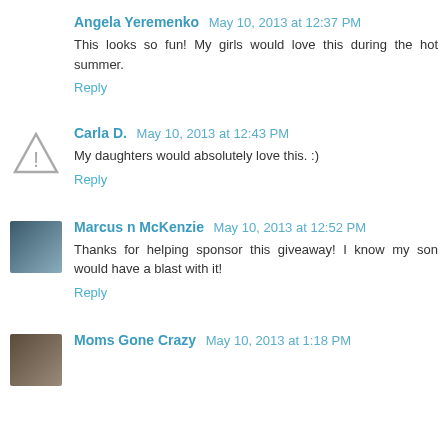Angela Yeremenko May 10, 2013 at 12:37 PM
This looks so fun! My girls would love this during the hot summer.
Reply
Carla D. May 10, 2013 at 12:43 PM
My daughters would absolutely love this. :)
Reply
Marcus n McKenzie May 10, 2013 at 12:52 PM
Thanks for helping sponsor this giveaway! I know my son would have a blast with it!
Reply
Moms Gone Crazy May 10, 2013 at 1:18 PM